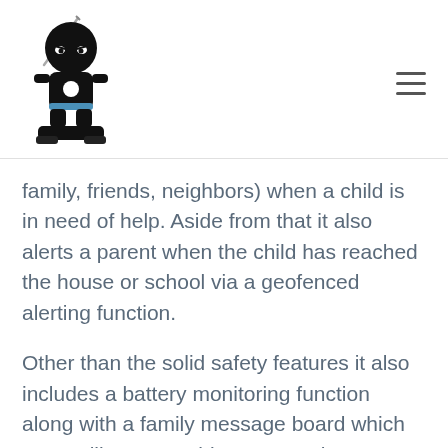[Figure (logo): Ninja character logo — cartoon black ninja figure with sword and blue belt, sitting on a platform]
family, friends, neighbors) when a child is in need of help. Aside from that it also alerts a parent when the child has reached the house or school via a geofenced alerting function.
Other than the solid safety features it also includes a battery monitoring function along with a family message board which seems like a great idea. Granted my daughter isn't old enough for me let her go anywhere on her own, I know